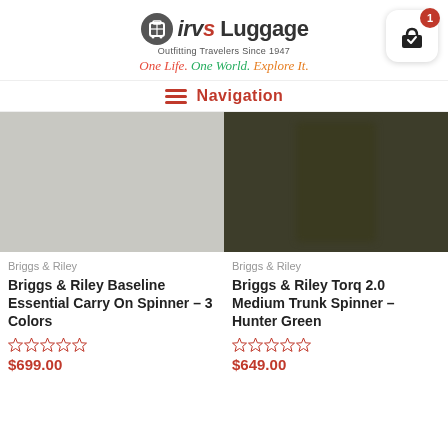[Figure (logo): Irv's Luggage logo with tagline 'Outfitting Travelers Since 1947' and slogan 'One Life. One World. Explore It.']
Navigation
[Figure (photo): Gray/neutral product image placeholder for Briggs & Riley Baseline Essential Carry On Spinner]
[Figure (photo): Dark olive/hunter green luggage product image for Briggs & Riley Torq 2.0 Medium Trunk Spinner]
Briggs & Riley
Briggs & Riley
Briggs & Riley Baseline Essential Carry On Spinner – 3 Colors
Briggs & Riley Torq 2.0 Medium Trunk Spinner – Hunter Green
$699.00
$649.00